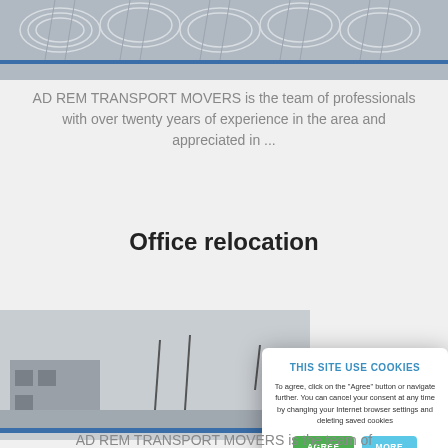[Figure (photo): Close-up black and white photo of metal spiral/coil structures, architectural or industrial detail]
AD REM TRANSPORT MOVERS is the team of professionals with over twenty years of experience in the area and appreciated in ...
Office relocation
[Figure (photo): Black and white photo showing a building/warehouse with figures and equipment in the foreground]
THIS SITE USE COOKIES
To agree, click on the "Agree" button or navigate further. You can cancel your consent at any time by changing your Internet browser settings and deleting saved cookies
AD REM TRANSPORT MOVERS is the team of